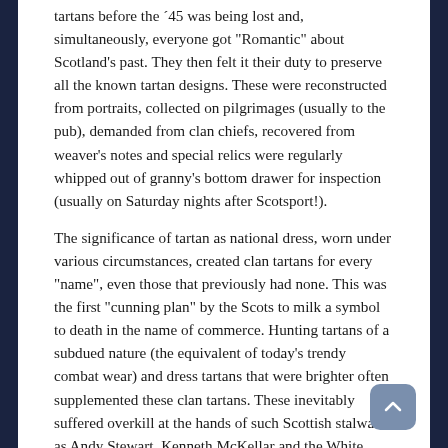tartans before the ´45 was being lost and, simultaneously, everyone got "Romantic" about Scotland's past. They then felt it their duty to preserve all the known tartan designs. These were reconstructed from portraits, collected on pilgrimages (usually to the pub), demanded from clan chiefs, recovered from weaver's notes and special relics were regularly whipped out of granny's bottom drawer for inspection (usually on Saturday nights after Scotsport!).
The significance of tartan as national dress, worn under various circumstances, created clan tartans for every "name", even those that previously had none. This was the first "cunning plan" by the Scots to milk a symbol to death in the name of commerce. Hunting tartans of a subdued nature (the equivalent of today's trendy combat wear) and dress tartans that were brighter often supplemented these clan tartans. These inevitably suffered overkill at the hands of such Scottish stalwarts as Andy Stewart, Kenneth McKellar and the White